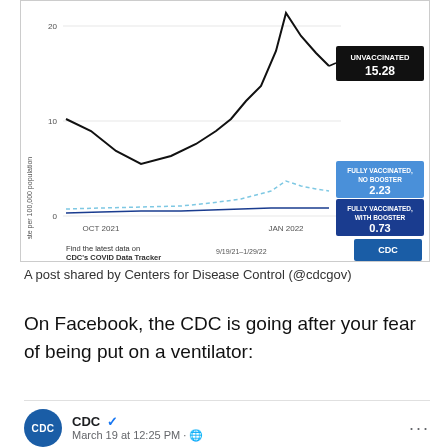[Figure (line-chart): COVID-19 hospitalization rates by vaccination status]
A post shared by Centers for Disease Control (@cdcgov)
On Facebook, the CDC is going after your fear of being put on a ventilator:
CDC · March 19 at 12:25 PM